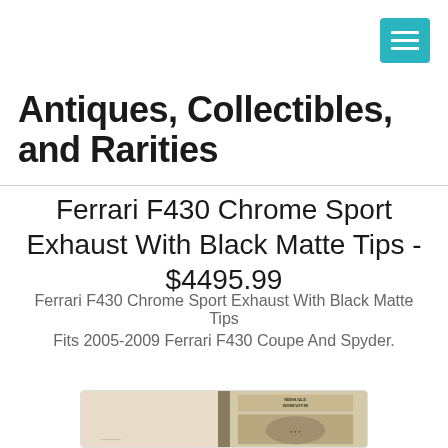[Figure (other): Teal/cyan hamburger menu button with three white horizontal lines]
Antiques, Collectibles, and Rarities
Ferrari F430 Chrome Sport Exhaust With Black Matte Tips - $4495.99
Ferrari F430 Chrome Sport Exhaust With Black Matte Tips
Fits 2005-2009 Ferrari F430 Coupe And Spyder.
[Figure (photo): Open antique book showing Missale Romanum title page with religious engraving illustration]